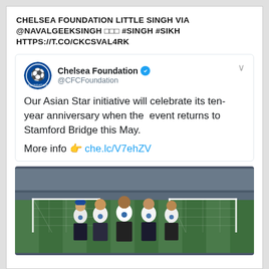CHELSEA FOUNDATION LITTLE SINGH VIA @NAVALGEEKSINGH □□□ #SINGH #SIKH HTTPS://T.CO/CKCSVAL4RK
[Figure (screenshot): Tweet from Chelsea Foundation (@CFCFoundation) with verified badge. Tweet text: 'Our Asian Star initiative will celebrate its ten-year anniversary when the event returns to Stamford Bridge this May. More info 👉 che.lc/V7ehZV'. Below the tweet text is a photo of children in Chelsea Foundation white t-shirts standing in front of a football goal at Stamford Bridge.]